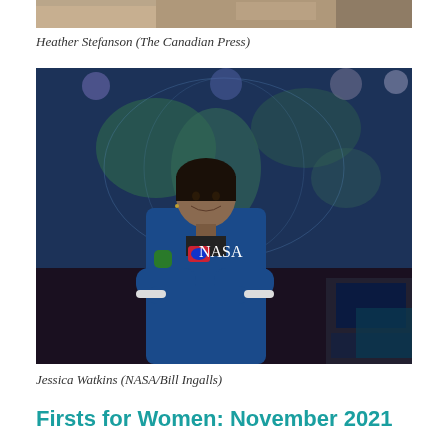[Figure (photo): Partial photo strip at top of page showing Heather Stefanson]
Heather Stefanson (The Canadian Press)
[Figure (photo): Jessica Watkins in NASA blue flight suit standing with arms crossed in front of a world map display screen]
Jessica Watkins (NASA/Bill Ingalls)
Firsts for Women: November 2021